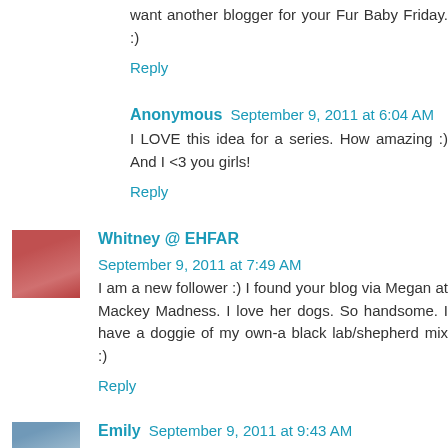want another blogger for your Fur Baby Friday. :)
Reply
Anonymous  September 9, 2011 at 6:04 AM
I LOVE this idea for a series. How amazing :) And I <3 you girls!
Reply
Whitney @ EHFAR  September 9, 2011 at 7:49 AM
I am a new follower :) I found your blog via Megan at Mackey Madness. I love her dogs. So handsome. I have a doggie of my own-a black lab/shepherd mix :)
Reply
Emily  September 9, 2011 at 9:43 AM
The dogs are adorable, I miss mine so much - I wish he could live in my dorm room with me!